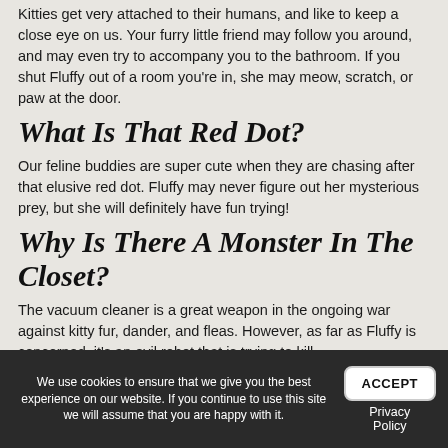Kitties get very attached to their humans, and like to keep a close eye on us. Your furry little friend may follow you around, and may even try to accompany you to the bathroom. If you shut Fluffy out of a room you're in, she may meow, scratch, or paw at the door.
What Is That Red Dot?
Our feline buddies are super cute when they are chasing after that elusive red dot. Fluffy may never figure out her mysterious prey, but she will definitely have fun trying!
Why Is There A Monster In The Closet?
The vacuum cleaner is a great weapon in the ongoing war against kitty fur, dander, and fleas. However, as far as Fluffy is concerned, it's an evil robot that is trying to kill
We use cookies to ensure that we give you the best experience on our website. If you continue to use this site we will assume that you are happy with it. ACCEPT Privacy Policy